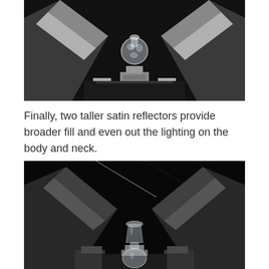[Figure (photo): A glass decorative vase or bottle placed on a stand, flanked by shiny metallic V-shaped satin reflectors on a dark/black background, photographed from above/front. The reflectors are angled to either side of the glass object.]
Finally, two taller satin reflectors provide broader fill and even out the lighting on the body and neck.
[Figure (photo): A second photograph showing a glass vase with a narrow neck placed between two dark matte V-shaped reflectors on a black background, showing the lighting setup from a slightly different angle or with different reflectors.]